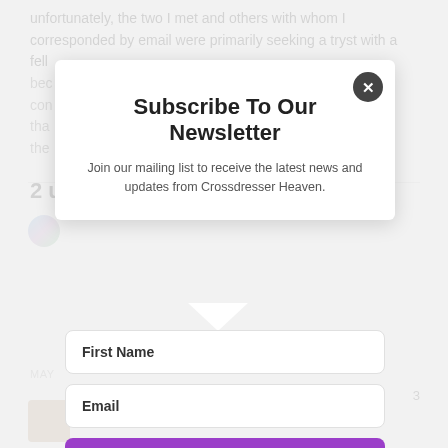unfortunately, the two I met and others with whom I corresponded by email were primarily seeking a tryst with a fell
bec
con
that
the
2 u
Subscribe To Our Newsletter
Join our mailing list to receive the latest news and updates from Crossdresser Heaven.
First Name
Email
SUBSCRIBE!
We hate spam too, unsubscribe at any time.
MAY
3